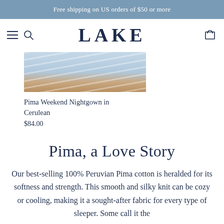Free shipping on US orders of $50 or more
LAKE
[Figure (photo): Product photo of Pima Weekend Nightgown in Cerulean — shows light blue and white striped fabric with a partial view of a person's arm/shoulder, cream wall background.]
Pima Weekend Nightgown in Cerulean
$84.00
Pima, a Love Story
Our best-selling 100% Peruvian Pima cotton is heralded for its softness and strength. This smooth and silky knit can be cozy or cooling, making it a sought-after fabric for every type of sleeper. Some call it the